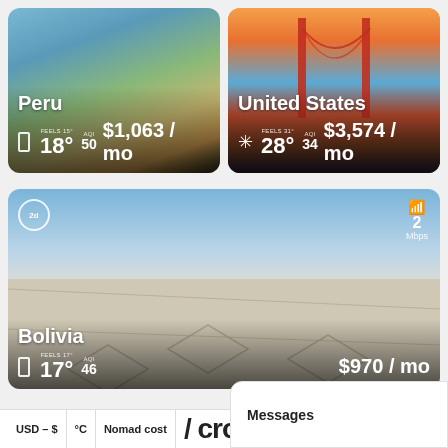[Figure (photo): Peru travel card showing coastal landscape with blue water and hills. Shows temperature 18°, AQI 50, cost $1,063/mo]
[Figure (photo): United States travel card showing Golden Gate Bridge at sunset. Shows temperature 28°, AQI 34, cost $3,574/mo]
[Figure (photo): Bolivia travel card showing salt flats with cloudy sky. Badge shows 2d, WiFi 2 Mbps. Shows temperature 17°, AQI 46, cost $970/mo]
USD – $   °C   Nomad cost  / cros
Messages